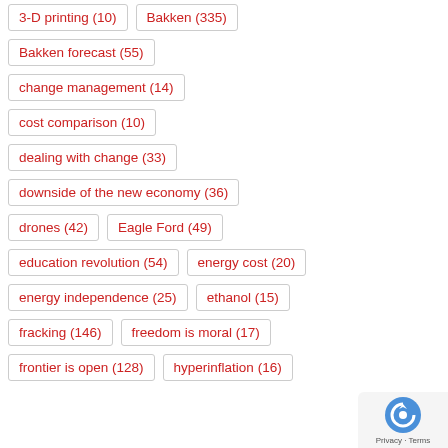3-D printing (10)
Bakken (335)
Bakken forecast (55)
change management (14)
cost comparison (10)
dealing with change (33)
downside of the new economy (36)
drones (42)
Eagle Ford (49)
education revolution (54)
energy cost (20)
energy independence (25)
ethanol (15)
fracking (146)
freedom is moral (17)
frontier is open (128)
hyperinflation (16)